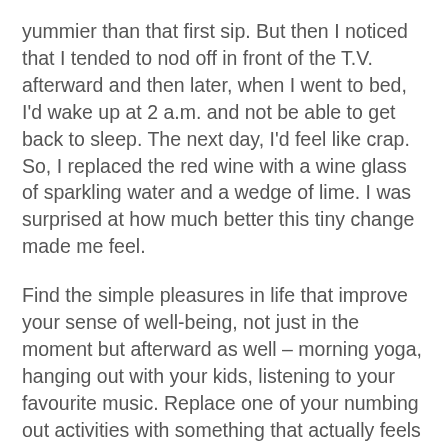yummier than that first sip. But then I noticed that I tended to nod off in front of the T.V. afterward and then later, when I went to bed, I'd wake up at 2 a.m. and not be able to get back to sleep. The next day, I'd feel like crap. So, I replaced the red wine with a wine glass of sparkling water and a wedge of lime. I was surprised at how much better this tiny change made me feel.
Find the simple pleasures in life that improve your sense of well-being, not just in the moment but afterward as well – morning yoga, hanging out with your kids, listening to your favourite music. Replace one of your numbing out activities with something that actually feels good. Savour it and treat yourself every day.